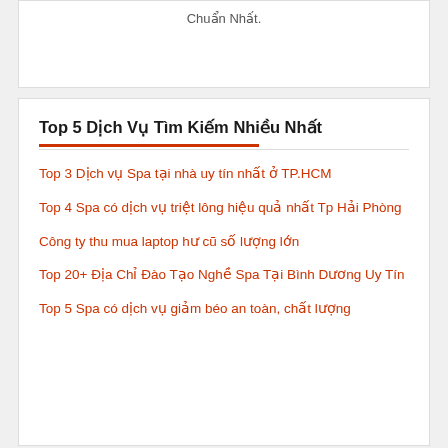Chuẩn Nhất.
Top 5 Dịch Vụ Tìm Kiếm Nhiều Nhất
Top 3 Dịch vụ Spa tại nhà uy tín nhất ở TP.HCM
Top 4 Spa có dịch vụ triệt lông hiệu quả nhất Tp Hải Phòng
Công ty thu mua laptop hư cũ số lượng lớn
Top 20+ Địa Chỉ Đào Tạo Nghề Spa Tại Bình Dương Uy Tín
Top 5 Spa có dịch vụ giảm béo an toàn, chất lượng